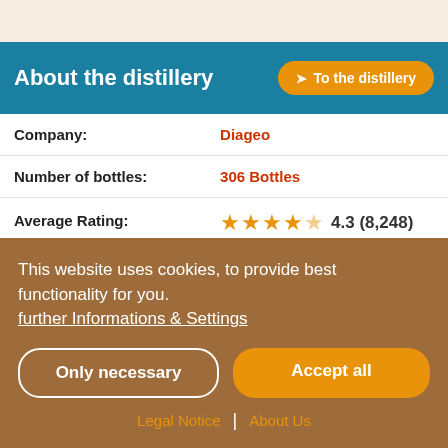About the distillery
| Field | Value |
| --- | --- |
| Company: | Diageo |
| Number of bottles: | 306 Bottles |
| Average Rating: | 4.3 (8,248) 467 |
Details about this bottle
This website uses cookies, to provide best functionality for you. further Informations & Settings
Only necessary | Accept all
Legal Notice | About Us